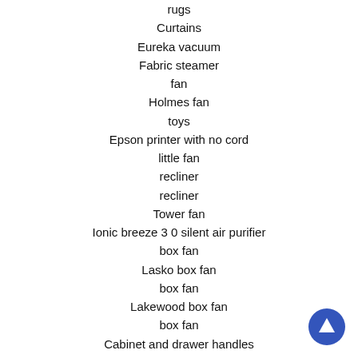rugs
Curtains
Eureka vacuum
Fabric steamer
fan
Holmes fan
toys
Epson printer with no cord
little fan
recliner
recliner
Tower fan
Ionic breeze 3 0 silent air purifier
box fan
Lasko box fan
box fan
Lakewood box fan
box fan
Cabinet and drawer handles
ceiling fan
some caulking nails little prybar and whatever else you see
5 in 1 sports center
sports pack for Wii
ninja air fryer
Farberware toaster oven
books
Hat racks